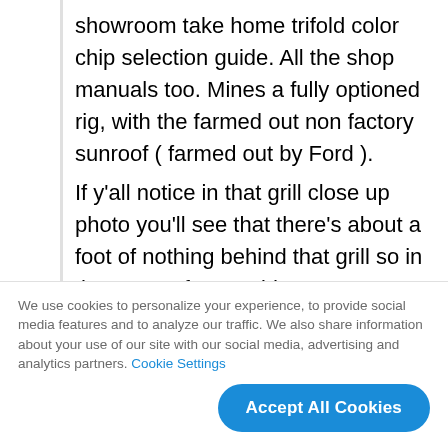showroom take home trifold color chip selection guide. All the shop manuals too. Mines a fully optioned rig, with the farmed out non factory sunroof ( farmed out by Ford ). If y'all notice in that grill close up photo you'll see that there's about a foot of nothing behind that grill so in the event of an accident you're gonna lose that entire thing, but what a beautiful thing it is being fashioned all out of metal, even the
We use cookies to personalize your experience, to provide social media features and to analyze our traffic. We also share information about your use of our site with our social media, advertising and analytics partners. Cookie Settings
Accept All Cookies